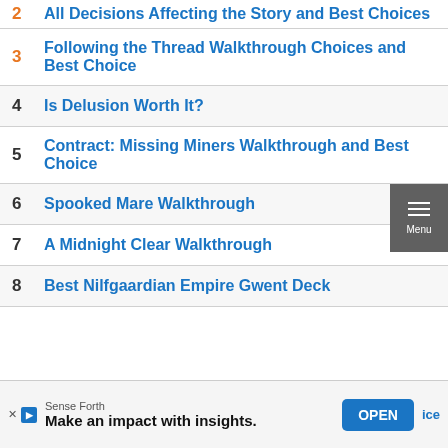2 All Decisions Affecting the Story and Best Choices
3 Following the Thread Walkthrough Choices and Best Choice
4 Is Delusion Worth It?
5 Contract: Missing Miners Walkthrough and Best Choice
6 Spooked Mare Walkthrough
7 A Midnight Clear Walkthrough
8 Best Nilfgaardian Empire Gwent Deck
Sense Forth Make an impact with insights. OPEN ice